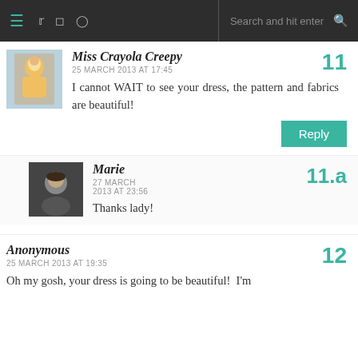Navigation bar with hamburger menu, Twitter, Instagram, Pinterest icons, search bar
Miss Crayola Creepy
25 MARCH 2013 AT 17:45
I cannot WAIT to see your dress, the pattern and fabrics are beautiful!
11
Reply
Marie
27 MARCH 2013 AT 23:56
Thanks lady!
11.a
Anonymous
25 MARCH 2013 AT 19:35
Oh my gosh, your dress is going to be beautiful! I'm
12